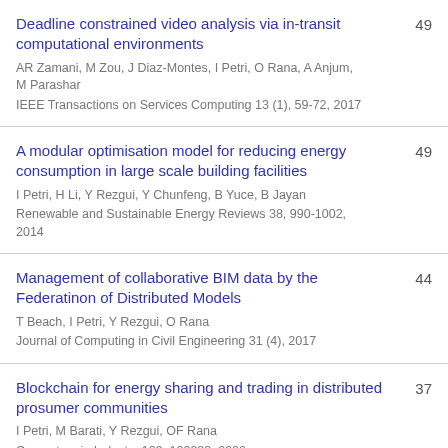Deadline constrained video analysis via in-transit computational environments
AR Zamani, M Zou, J Diaz-Montes, I Petri, O Rana, A Anjum, M Parashar
IEEE Transactions on Services Computing 13 (1), 59-72, 2017
49
A modular optimisation model for reducing energy consumption in large scale building facilities
I Petri, H Li, Y Rezgui, Y Chunfeng, B Yuce, B Jayan
Renewable and Sustainable Energy Reviews 38, 990-1002, 2014
49
Management of collaborative BIM data by the Federatinon of Distributed Models
T Beach, I Petri, Y Rezgui, O Rana
Journal of Computing in Civil Engineering 31 (4), 2017
44
Blockchain for energy sharing and trading in distributed prosumer communities
I Petri, M Barati, Y Rezgui, OF Rana
Computers in Industry 123, 103282, 2020
37
(partial entry visible at bottom)